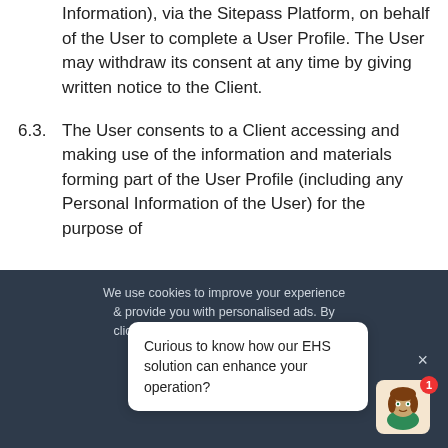Information), via the Sitepass Platform, on behalf of the User to complete a User Profile. The User may withdraw its consent at any time by giving written notice to the Client.
6.3. The User consents to a Client accessing and making use of the information and materials forming part of the User Profile (including any Personal Information of the User) for the purpose of
We use cookies to improve your experience & provide you with personalised ads. By clicking allow or navigating this site, you
Curious to know how our EHS solution can enhance your operation?